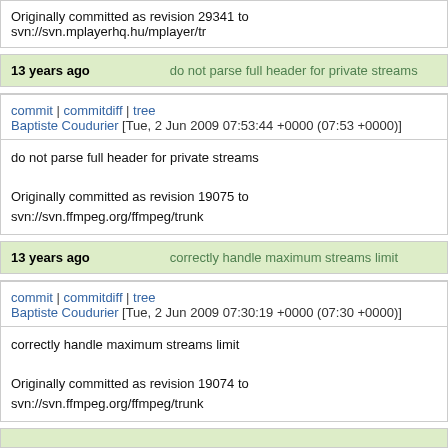Originally committed as revision 29341 to svn://svn.mplayerhq.hu/mplayer/tr
13 years ago   do not parse full header for private streams
commit | commitdiff | tree
Baptiste Coudurier [Tue, 2 Jun 2009 07:53:44 +0000 (07:53 +0000)]
do not parse full header for private streams

Originally committed as revision 19075 to svn://svn.ffmpeg.org/ffmpeg/trunk
13 years ago   correctly handle maximum streams limit
commit | commitdiff | tree
Baptiste Coudurier [Tue, 2 Jun 2009 07:30:19 +0000 (07:30 +0000)]
correctly handle maximum streams limit

Originally committed as revision 19074 to svn://svn.ffmpeg.org/ffmpeg/trunk